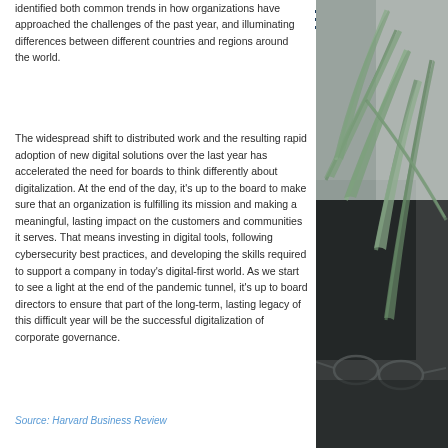identified both common trends in how organizations have approached the challenges of the past year, and illuminating differences between different countries and regions around the world.
The widespread shift to distributed work and the resulting rapid adoption of new digital solutions over the last year has accelerated the need for boards to think differently about digitalization. At the end of the day, it's up to the board to make sure that an organization is fulfilling its mission and making a meaningful, lasting impact on the customers and communities it serves. That means investing in digital tools, following cybersecurity best practices, and developing the skills required to support a company in today's digital-first world. As we start to see a light at the end of the pandemic tunnel, it's up to board directors to ensure that part of the long-term, lasting legacy of this difficult year will be the successful digitalization of corporate governance.
Source: Harvard Business Review
[Figure (photo): Photo of a plant with long thin leaves and glasses on a dark surface, partially visible on the right side of the page]